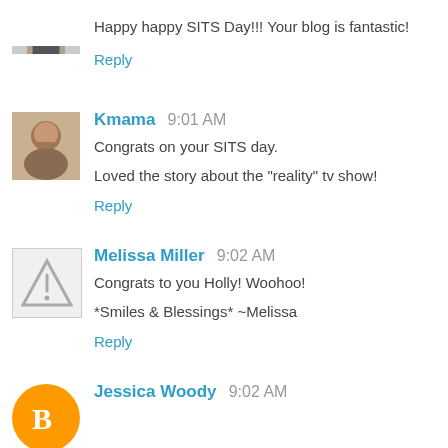Happy happy SITS Day!!! Your blog is fantastic!
Reply
Kmama  9:01 AM
Congrats on your SITS day.

Loved the story about the "reality" tv show!
Reply
Melissa Miller  9:02 AM
Congrats to you Holly! Woohoo!

*Smiles & Blessings* ~Melissa
Reply
Jessica Woody  9:02 AM